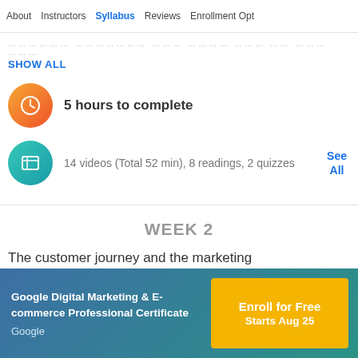About   Instructors   Syllabus   Reviews   Enrollment Opt
……………… ………………… ……… ………… ……… …… ……… ………
SHOW ALL
5 hours to complete
14 videos (Total 52 min), 8 readings, 2 quizzes
See All
WEEK 2
The customer journey and the marketing
Google Digital Marketing & E-commerce Professional Certificate
Google
Enroll for Free Starts Aug 25